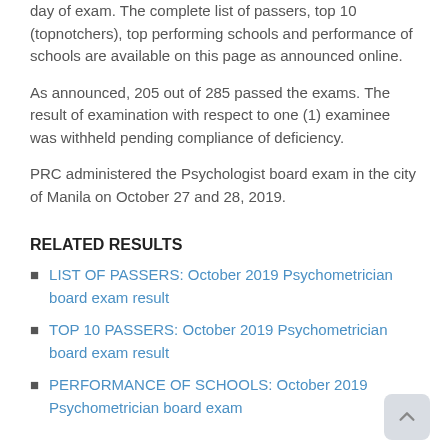day of exam. The complete list of passers, top 10 (topnotchers), top performing schools and performance of schools are available on this page as announced online.
As announced, 205 out of 285 passed the exams. The result of examination with respect to one (1) examinee was withheld pending compliance of deficiency.
PRC administered the Psychologist board exam in the city of Manila on October 27 and 28, 2019.
RELATED RESULTS
LIST OF PASSERS: October 2019 Psychometrician board exam result
TOP 10 PASSERS: October 2019 Psychometrician board exam result
PERFORMANCE OF SCHOOLS: October 2019 Psychometrician board exam